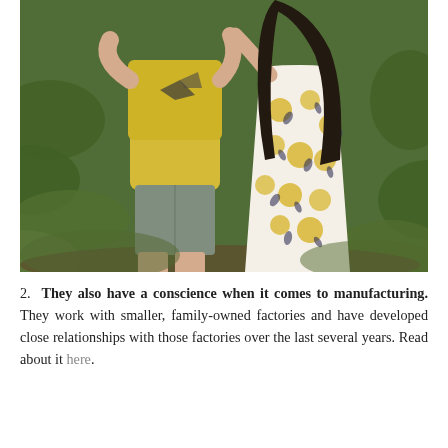[Figure (photo): Two children standing outdoors among green foliage. The child on the left wears a yellow t-shirt with a bird graphic and grey shorts. The child on the right wears a white dress with yellow floral pattern and has long dark hair. They appear to be whispering or playing together.]
2. They also have a conscience when it comes to manufacturing. They work with smaller, family-owned factories and have developed close relationships with those factories over the last several years. Read about it here.